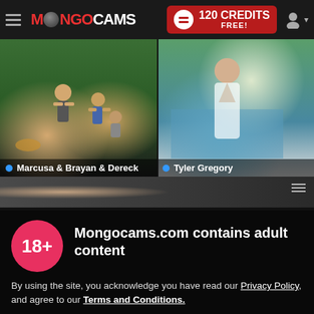MongoCams — 120 CREDITS FREE!
[Figure (screenshot): Two webcam thumbnails side by side: left shows 'Marcusa & Brayan & Dereck' in a gym scene, right shows 'Tyler Gregory' by a pool. Below is a partial third thumbnail.]
Mongocams.com contains adult content
By using the site, you acknowledge you have read our Privacy Policy, and agree to our Terms and Conditions.
We use cookies to optimize your experience, analyze traffic, and deliver more personalized service. To learn more, please see our Privacy Policy.
I AGREE